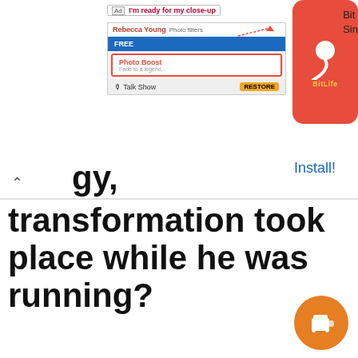[Figure (screenshot): Mobile ad banner showing BitLife app advertisement with 'I'm ready for my close-up' text, photo filters interface, and BitLife app icon with Install! link]
transformation took place while he was running?
When a person runs their body must convert potential energy into kinetic energy. Potential energy is the energy stored within a system. Potential energy is used when the system uses kinetic energy to move in a horizontal direction. In the human body potential energy is stored in the form of chemical energy.